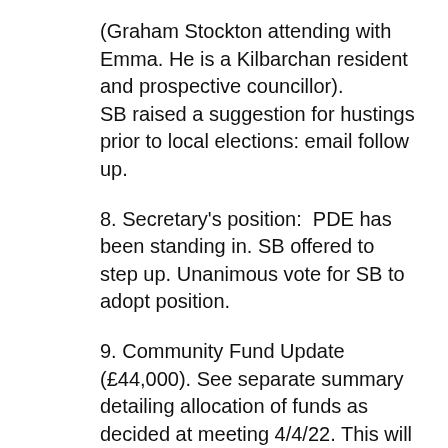(Graham Stockton attending with Emma. He is a Kilbarchan resident and prospective councillor).
SB raised a suggestion for hustings prior to local elections: email follow up.
8. Secretary's position: PDE has been standing in. SB offered to step up. Unanimous vote for SB to adopt position.
9. Community Fund Update (£44,000). See separate summary detailing allocation of funds as decided at meeting 4/4/22. This will be posted on CC noticeboard. RDC will be final arbiter of decision.
LCDT is trying to match fund mural funding if possible: Local Area